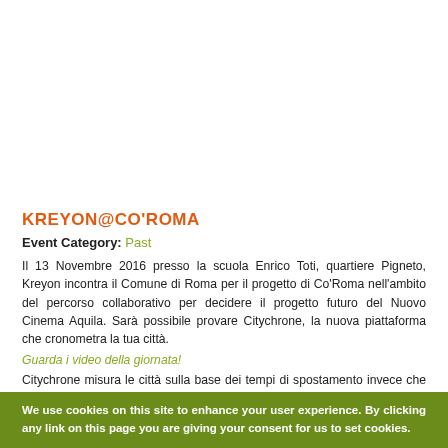KREYON@CO'ROMA
Event Category: Past
Il 13 Novembre 2016 presso la scuola Enrico Toti, quartiere Pigneto, Kreyon incontra il Comune di Roma per il progetto di Co'Roma nell'ambito del percorso collaborativo per decidere il progetto futuro del Nuovo Cinema Aquila. Sarà possibile provare Citychrone, la nuova piattaforma che cronometra la tua città.
Guarda i video della giornata!
Citychrone misura le città sulla base dei tempi di spostamento invece che delle distanze. Fornisce in tal modo una nuova visione della città più vicina alla percezione e all'esperienza dei cittadini. Nel far questo implementa una visione della città libera dal trasporto privato, valuta la qualità del trasporto pubblico, e permette di disegnare e valutare nuovi
We use cookies on this site to enhance your user experience. By clicking any link on this page you are giving your consent for us to set cookies.